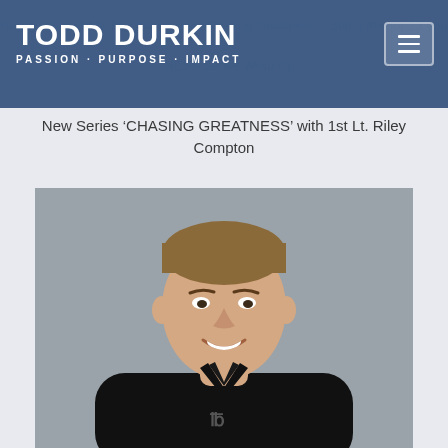TODD DURKIN · PASSION · PURPOSE · IMPACT
New Series ‘CHASING GREATNESS’ with 1st Lt. Riley Compton
[Figure (photo): Professional headshot of a fit, smiling man with short hair wearing a black Under Armour polo shirt against a gray background]